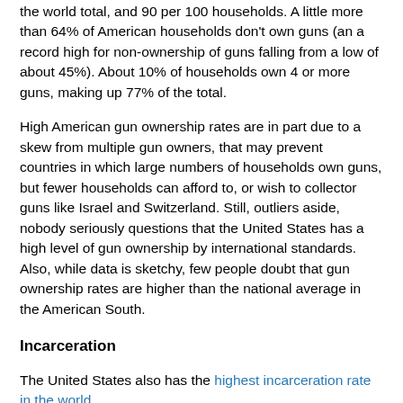the world total, and 90 per 100 households. A little more than 64% of American households don't own guns (an a record high for non-ownership of guns falling from a low of about 45%). About 10% of households own 4 or more guns, making up 77% of the total.
High American gun ownership rates are in part due to a skew from multiple gun owners, that may prevent countries in which large numbers of households own guns, but fewer households can afford to, or wish to collector guns like Israel and Switzerland. Still, outliers aside, nobody seriously questions that the United States has a high level of gun ownership by international standards. Also, while data is sketchy, few people doubt that gun ownership rates are higher than the national average in the American South.
Incarceration
The United States also has the highest incarceration rate in the world.